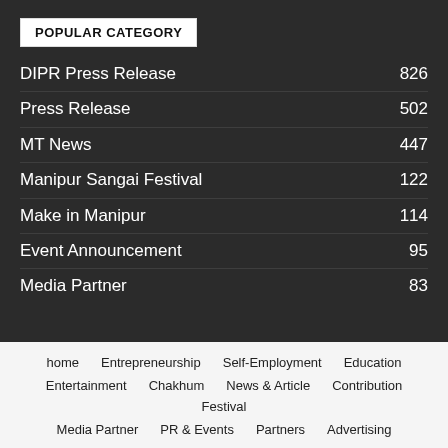POPULAR CATEGORY
DIPR Press Release 826
Press Release 502
MT News 447
Manipur Sangai Festival 122
Make in Manipur 114
Event Announcement 95
Media Partner 83
home  Entrepreneurship  Self-Employment  Education  Entertainment  Chakhum  News & Article  Contribution  Festival  Media Partner  PR & Events  Partners  Advertising  Make in Manipur  Shopping  Contact